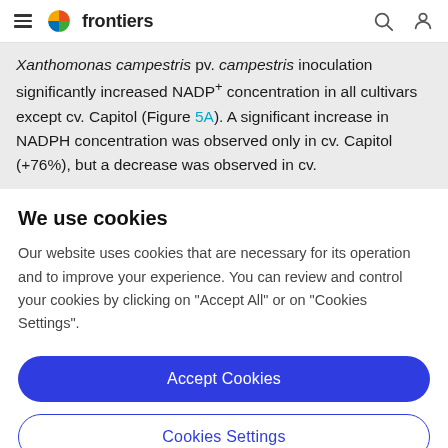frontiers
Xanthomonas campestris pv. campestris inoculation significantly increased NADP+ concentration in all cultivars except cv. Capitol (Figure 5A). A significant increase in NADPH concentration was observed only in cv. Capitol (+76%), but a decrease was observed in cv.
We use cookies
Our website uses cookies that are necessary for its operation and to improve your experience. You can review and control your cookies by clicking on "Accept All" or on "Cookies Settings".
Accept Cookies
Cookies Settings